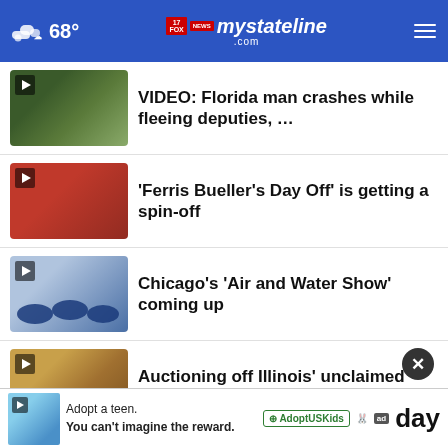68° mystateline.com
VIDEO: Florida man crashes while fleeing deputies, …
'Ferris Bueller's Day Off' is getting a spin-off
Chicago's 'Air and Water Show' coming up
Auctioning off Illinois' unclaimed property
Last day of Winnebago County Fair
Adopt a teen. You can't imagine the reward.